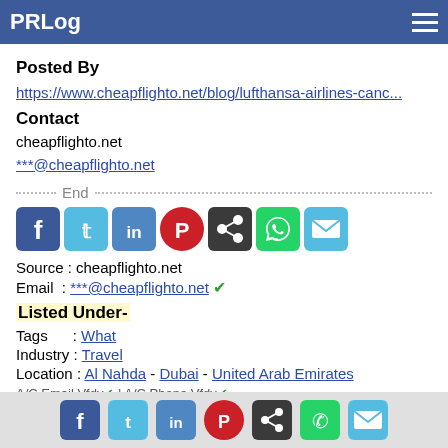PRLog
Posted By
https://www.cheapflighto.net/blog/lufthansa-airlines-canc...
Contact
cheapflighto.net
***@cheapflighto.net
End
[Figure (other): Social share icons: Facebook, Twitter, LinkedIn, Pinterest, Share, WhatsApp, Email]
Source : cheapflighto.net
Email  : ***@cheapflighto.net ✔
Listed Under-
Tags      : What
Industry  : Travel
Location : Al Nahda - Dubai - United Arab Emirates
A/C Email Vfdy... ✔ | A/C Phone Vfdy... ✔
Social share icons footer: Facebook, Twitter, LinkedIn, Pinterest, Share, WhatsApp, Email